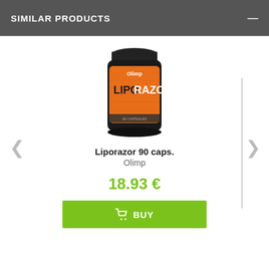SIMILAR PRODUCTS
[Figure (photo): Orange and black supplement bottle labeled LIPORAZOR 90 caps by Olimp]
Liporazor 90 caps.
Olimp
18.93 €
BUY